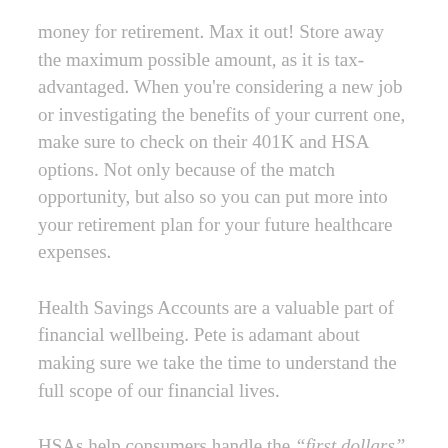money for retirement. Max it out! Store away the maximum possible amount, as it is tax-advantaged. When you're considering a new job or investigating the benefits of your current one, make sure to check on their 401K and HSA options. Not only because of the match opportunity, but also so you can put more into your retirement plan for your future healthcare expenses.
Health Savings Accounts are a valuable part of financial wellbeing. Pete is adamant about making sure we take the time to understand the full scope of our financial lives.
HSAs help consumers handle the "first dollars" of healthcare expenses by making withdrawals